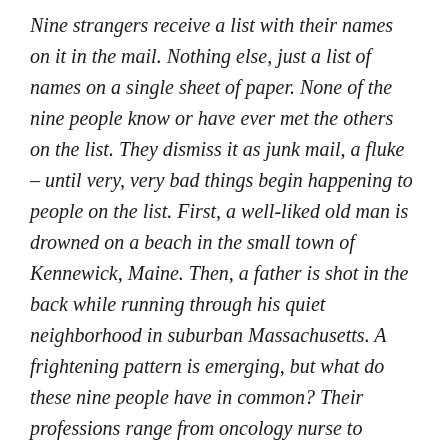Nine strangers receive a list with their names on it in the mail. Nothing else, just a list of names on a single sheet of paper. None of the nine people know or have ever met the others on the list. They dismiss it as junk mail, a fluke – until very, very bad things begin happening to people on the list. First, a well-liked old man is drowned on a beach in the small town of Kennewick, Maine. Then, a father is shot in the back while running through his quiet neighborhood in suburban Massachusetts. A frightening pattern is emerging, but what do these nine people have in common? Their professions range from oncology nurse to aspiring actor.

FBI agent Jessica Winslow, who is on the list herself, is